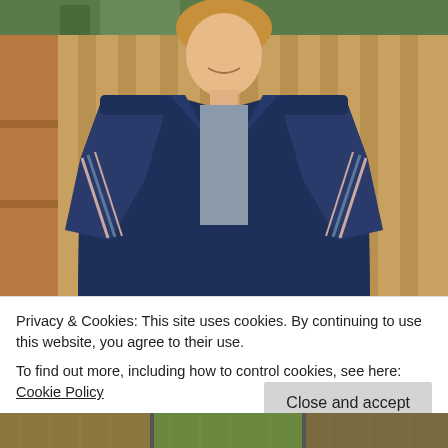[Figure (photo): A smiling woman wearing a navy blue open-front cardigan over a striped shirt, standing outdoors in front of a wooden fence with greenery visible at the top.]
Privacy & Cookies: This site uses cookies. By continuing to use this website, you agree to their use.
To find out more, including how to control cookies, see here: Cookie Policy
[Figure (photo): Bottom strip showing partial photos of what appears to be outdoor/fashion content.]